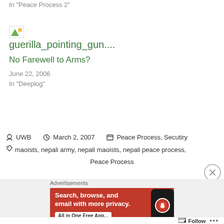In "Peace Process 2"
[Figure (photo): Broken/missing image placeholder thumbnail]
guerilla_pointing_gun....
No Farewell to Arms?
June 22, 2006
In "Deeplog"
UWB · March 2, 2007 · Peace Process, Secutiry
maoists, nepali army, nepali maoists, nepali peace process, Peace Process
Advertisements
[Figure (screenshot): DuckDuckGo ad banner: Search, browse, and email with more privacy. All in One Free App.]
Follow